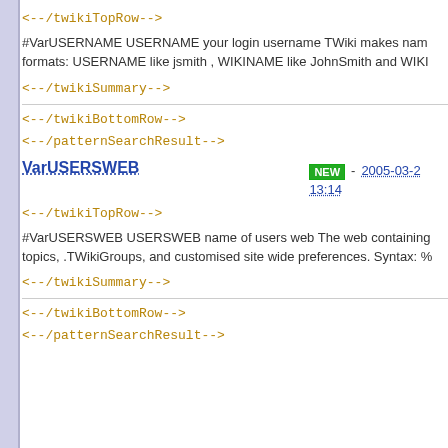<!--/twikiTopRow-->
#VarUSERNAME USERNAME your login username TWiki makes nam formats: USERNAME like jsmith , WIKINAME like JohnSmith and WIKI
<!--/twikiSummary-->
<!--/twikiBottomRow-->
<!--/patternSearchResult-->
VarUSERSWEB  NEW - 2005-03-2 13:14
<!--/twikiTopRow-->
#VarUSERSWEB USERSWEB name of users web The web containing topics, .TWikiGroups, and customised site wide preferences. Syntax: %
<!--/twikiSummary-->
<!--/twikiBottomRow-->
<!--/patternSearchResult-->